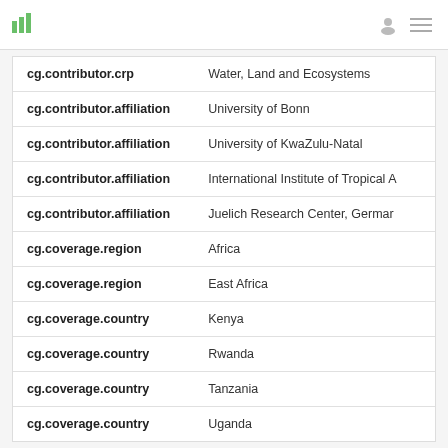bar chart icon, user icon, menu icon
| Field | Value |
| --- | --- |
| cg.contributor.crp | Water, Land and Ecosystems |
| cg.contributor.affiliation | University of Bonn |
| cg.contributor.affiliation | University of KwaZulu-Natal |
| cg.contributor.affiliation | International Institute of Tropical A |
| cg.contributor.affiliation | Juelich Research Center, Germar |
| cg.coverage.region | Africa |
| cg.coverage.region | East Africa |
| cg.coverage.country | Kenya |
| cg.coverage.country | Rwanda |
| cg.coverage.country | Tanzania |
| cg.coverage.country | Uganda |